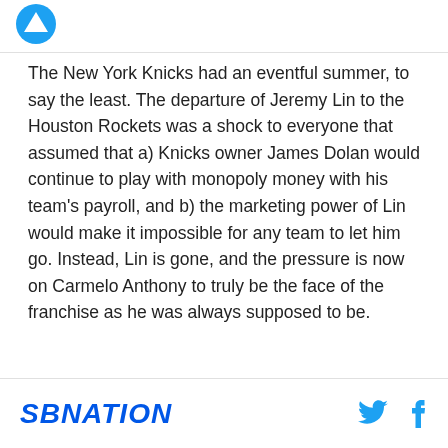[Figure (logo): SBNation circular logo icon, blue, partially visible at top left]
The New York Knicks had an eventful summer, to say the least. The departure of Jeremy Lin to the Houston Rockets was a shock to everyone that assumed that a) Knicks owner James Dolan would continue to play with monopoly money with his team's payroll, and b) the marketing power of Lin would make it impossible for any team to let him go. Instead, Lin is gone, and the pressure is now on Carmelo Anthony to truly be the face of the franchise as he was always supposed to be.
SBNATION (logo) with Twitter and Facebook icons